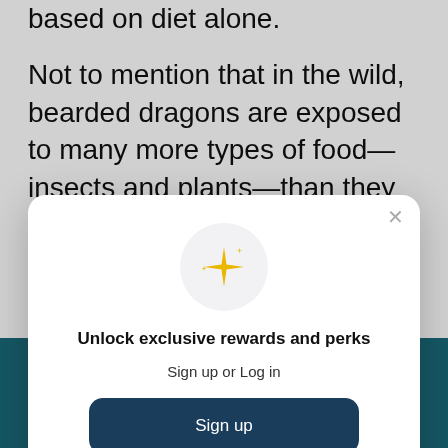based on diet alone.
Not to mention that in the wild, bearded dragons are exposed to many more types of food—insects and plants—than they ever would be in a domestic setting, so they invariably consume more calcium on a regular
[Figure (screenshot): Modal popup overlay with sparkle icon, title 'Unlock exclusive rewards and perks', subtitle 'Sign up or Log in', a dark teal 'Sign up' button, and a footer 'Already have an account? Sign in'. A close X button appears in the top-right corner.]